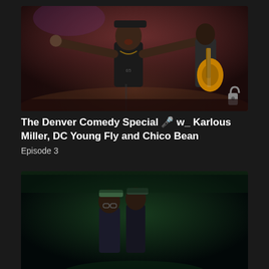[Figure (photo): A performer on stage with arms spread wide, wearing a hoodie and cap, with a guitarist visible in the background on the right. Stage lighting creates a reddish-purple atmosphere.]
The Denver Comedy Special 🎤 w_ Karlous Miller, DC Young Fly and Chico Bean
Episode 3
[Figure (photo): Two performers on stage with dark green stage lighting. Two figures visible, one wearing glasses, performing at a comedy show.]